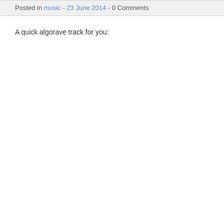Posted in music - 23 June 2014 - 0 Comments
A quick algorave track for you: